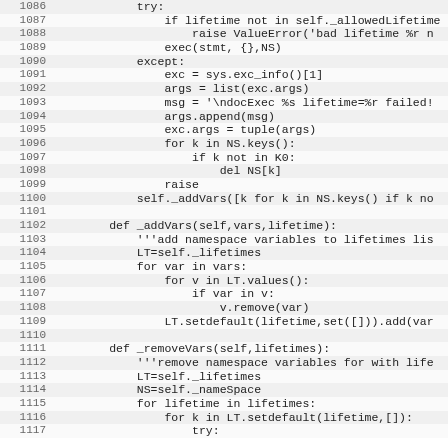[Figure (screenshot): Source code listing in Python, lines 1086-1117, showing try/except block, _addVars method, and _removeVars method definitions with monospace font on alternating background rows with line numbers.]